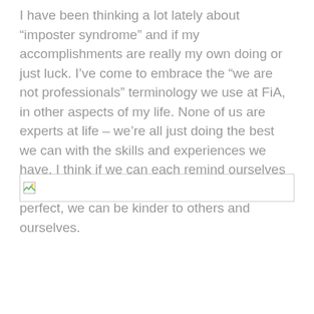I have been thinking a lot lately about “imposter syndrome” and if my accomplishments are really my own doing or just luck. I’ve come to embrace the “we are not professionals” terminology we use at FiA, in other aspects of my life. None of us are experts at life – we’re all just doing the best we can with the skills and experiences we have. I think if we can each remind ourselves that it’s ok not to have everything together and perfect, we can be kinder to others and ourselves.
[Figure (other): Broken image placeholder with small broken image icon and a wide rectangular border]